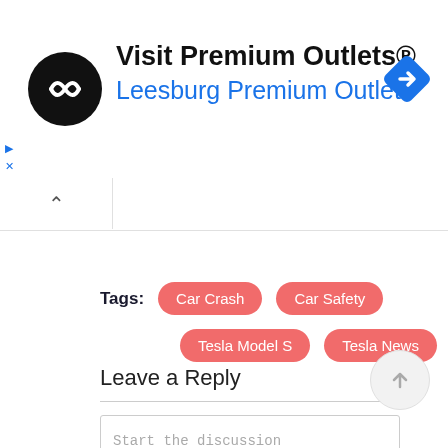[Figure (screenshot): Advertisement banner for 'Visit Premium Outlets® Leesburg Premium Outlets' with circular black logo with white infinity-like symbol, blue navigation diamond icon on right, and play/close icons on left]
Tags: Car Crash  Car Safety  Tesla Model S  Tesla News
Leave a Reply
Start the discussion